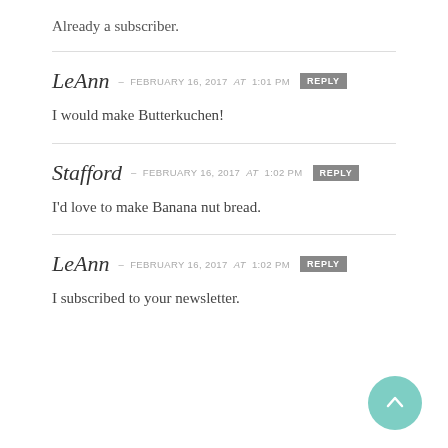Already a subscriber.
LeAnn — FEBRUARY 16, 2017 at 1:01 PM [REPLY]
I would make Butterkuchen!
Stafford — FEBRUARY 16, 2017 at 1:02 PM [REPLY]
I'd love to make Banana nut bread.
LeAnn — FEBRUARY 16, 2017 at 1:02 PM [REPLY]
I subscribed to your newsletter.